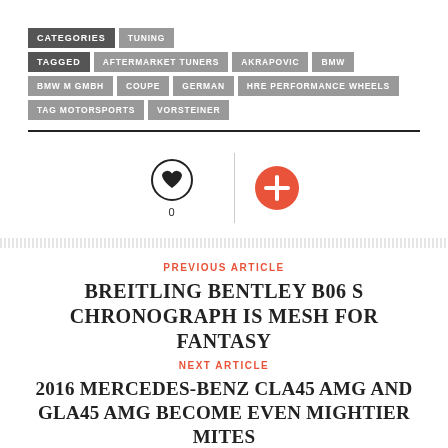CATEGORIES | TUNING
TAGGED | AFTERMARKET TUNERS | AKRAPOVIC | BMW | BMW M GMBH | COUPE | GERMAN | HRE PERFORMANCE WHEELS | TAG MOTORSPORTS | VORSTEINER
[Figure (infographic): Heart/like icon with count 0 and a red plus button separated by a vertical line]
PREVIOUS ARTICLE
BREITLING BENTLEY B06 S CHRONOGRAPH IS MESH FOR FANTASY
NEXT ARTICLE
2016 MERCEDES-BENZ CLA45 AMG AND GLA45 AMG BECOME EVEN MIGHTIER MITES